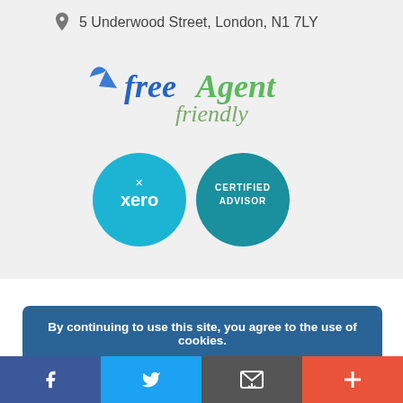5 Underwood Street, London, N1 7LY
[Figure (logo): FreeAgent Friendly logo - 'free' in blue cursive with wing symbol, 'agent' in green, 'friendly' in grey-green cursive]
[Figure (logo): Xero Certified Advisor badge - two circles: left cyan circle with 'xero' text and X symbol, right teal circle with 'CERTIFIED ADVISOR' text]
By continuing to use this site, you agree to the use of cookies.
more info
GOT IT!
All rights reserved · Abalmains Chartered Certified Accountants · 2015 · 020 7336 1140